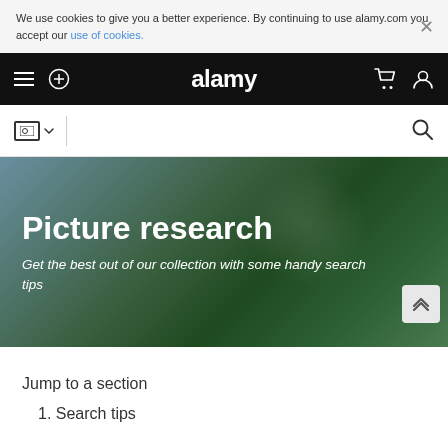We use cookies to give you a better experience. By continuing to use alamy.com you accept our use of cookies.
alamy
[Figure (screenshot): Alamy website navigation bar with hamburger menu, plus icon, alamy logo, cart icon, and user icon on black background]
[Figure (screenshot): Search bar with image type selector and search magnifier icon]
[Figure (illustration): Hero banner with green/teal gradient background showing 'Picture research' heading and italic subtitle]
Picture research
Get the best out of our collection with some handy search tips
Jump to a section
1. Search tips